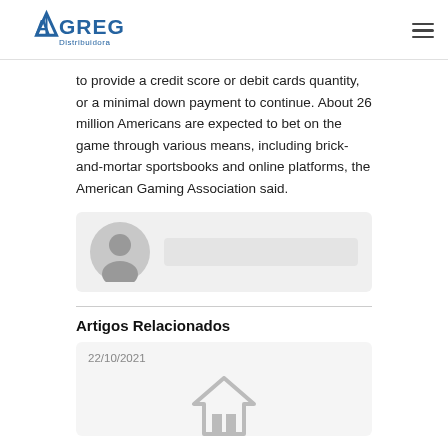AGREGAR Distribuidora
to provide a credit score or debit cards quantity, or a minimal down payment to continue. About 26 million Americans are expected to bet on the game through various means, including brick-and-mortar sportsbooks and online platforms, the American Gaming Association said.
[Figure (other): User avatar placeholder with comment input area on gray background]
Artigos Relacionados
[Figure (other): Related article card with date 22/10/2021 and image placeholder icon]